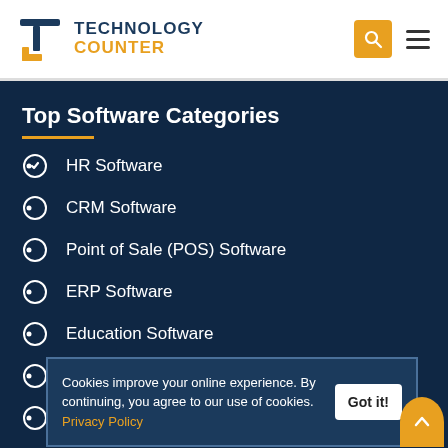Technology Counter
Top Software Categories
HR Software
CRM Software
Point of Sale (POS) Software
ERP Software
Education Software
GST Software
Accounting Software
School Management Software
Cookies improve your online experience. By continuing, you agree to our use of cookies. Privacy Policy